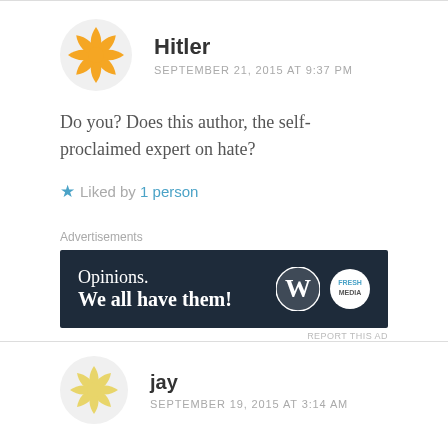[Figure (illustration): Orange/golden avatar icon with starburst/pinwheel shape for user 'Hitler']
Hitler
SEPTEMBER 21, 2015 AT 9:37 PM
Do you? Does this author, the self-proclaimed expert on hate?
★ Liked by 1 person
Advertisements
[Figure (screenshot): Advertisement banner: dark navy background with text 'Opinions. We all have them!' and WordPress logo plus another logo on the right]
REPORT THIS AD
[Figure (illustration): Yellow/light avatar icon with starburst/pinwheel shape for user 'jay']
jay
SEPTEMBER 19, 2015 AT 3:14 AM